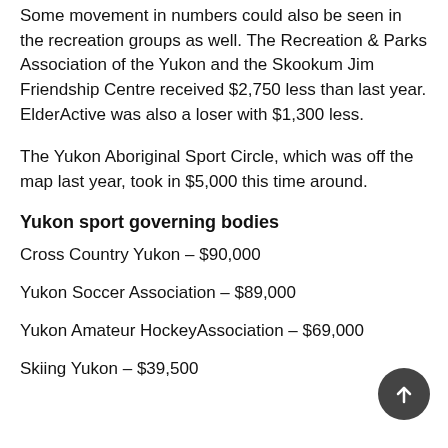Some movement in numbers could also be seen in the recreation groups as well. The Recreation & Parks Association of the Yukon and the Skookum Jim Friendship Centre received $2,750 less than last year. ElderActive was also a loser with $1,300 less.
The Yukon Aboriginal Sport Circle, which was off the map last year, took in $5,000 this time around.
Yukon sport governing bodies
Cross Country Yukon – $90,000
Yukon Soccer Association – $89,000
Yukon Amateur HockeyAssociation – $69,000
Skiing Yukon – $39,500